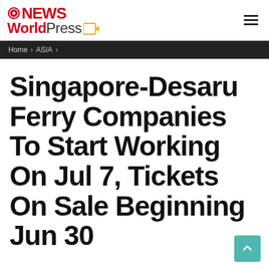NEWS WorldPress
Home > ASIA >
Singapore-Desaru Ferry Companies To Start Working On Jul 7, Tickets On Sale Beginning Jun 30